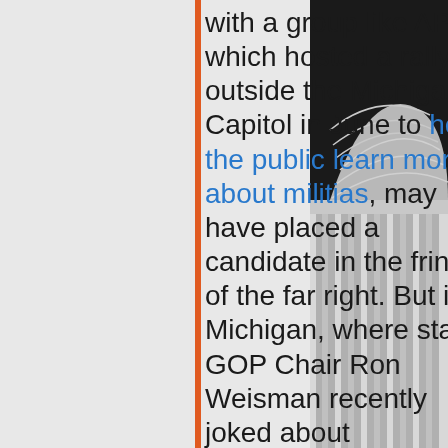[Figure (photo): Black and white photo of the US Capitol dome, partially visible on the right side of the page.]
with a group like APC, which hosted a rally outside the Michigan Capitol in June to help the public learn more about militias, may have placed a candidate in the fringes of the far right. But in Michigan, where state GOP Chair Ron Weisman recently joked about assassinating two congressmen from his own state party who voted to impeach President Trump, Howland and Kelley may not be that far off the